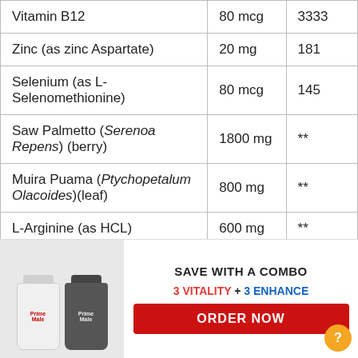| Ingredient | Amount | % DV |
| --- | --- | --- |
| Vitamin B12 | 80 mcg | 3333 |
| Zinc (as zinc Aspartate) | 20 mg | 181 |
| Selenium (as L-Selenomethionine) | 80 mcg | 145 |
| Saw Palmetto (Serenoa Repens) (berry) | 1800 mg | ** |
| Muira Puama (Ptychopetalum Olacoides)(leaf) | 800 mg | ** |
| L-Arginine (as HCL) | 600 mg | ** |
| Damiana Leaf Powder (Turnera Diff... ) | 500mg | ** |
| A... (r...) |  |  |
[Figure (infographic): Promotional banner overlay with two supplement bottles and text: SAVE WITH A COMBO, 3 VITALITY + 3 ENHANCE, ORDER NOW button]